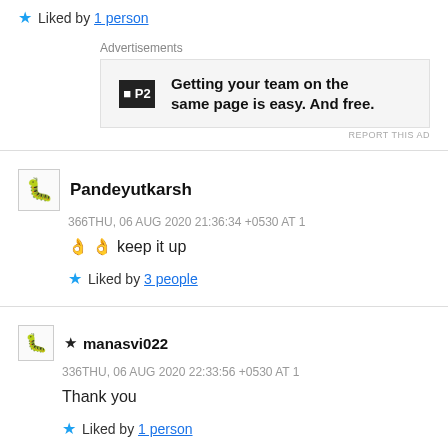★ Liked by 1 person
Advertisements
[Figure (other): P2 advertisement banner: Getting your team on the same page is easy. And free.]
Pandeyutkarsh
366THU, 06 AUG 2020 21:36:34 +0530 AT 1
👌 👌 keep it up
★ Liked by 3 people
★ manasvi022
336THU, 06 AUG 2020 22:33:56 +0530 AT 1
Thank you
★ Liked by 1 person